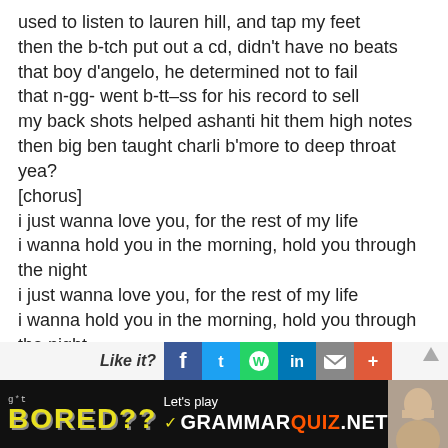used to listen to lauren hill, and tap my feet
then the b-tch put out a cd, didn't have no beats
that boy d'angelo, he determined not to fail
that n-gg- went b-tt–ss for his record to sell
my back shots helped ashanti hit them high notes
then big ben taught charli b'more to deep throat
yea?
[chorus]
i just wanna love you, for the rest of my life
i wanna hold you in the morning, hold you through the night
i just wanna love you, for the rest of my life
i wanna hold you in the morning, hold you through the night
- andru donalds
[Figure (infographic): Bottom banner advertisement: dark background with 'g*t BORED??' in yellow and white text on the left, 'Let's play GRAMMARQUIZ.NET' with a checkmark in the center, and a photo of a woman on the right. Social sharing bar above with Facebook, Twitter, WhatsApp, LinkedIn, email, and share buttons.]